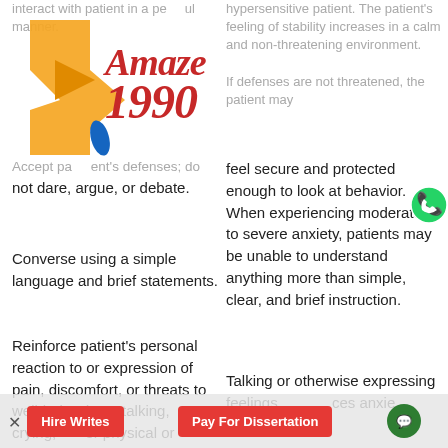[Figure (logo): Amaze1990 logo with gold arrow and red cursive text]
interact with patient in a peaceful manner.
hypersensitive patient. The patient's feeling of stability increases in a calm and non-threatening environment. If defenses are not threatened, the patient may feel secure and protected enough to look at behavior. When experiencing moderate to severe anxiety, patients may be unable to understand anything more than simple, clear, and brief instruction.
Accept patient's defenses; do not dare, argue, or debate.
Converse using a simple language and brief statements.
Reinforce patient's personal reaction to or expression of pain, discomfort, or threats to well-being (e.g., talking, crying, anger or physical or nonverbal
Talking or otherwise expressing feelings reduces anxiety